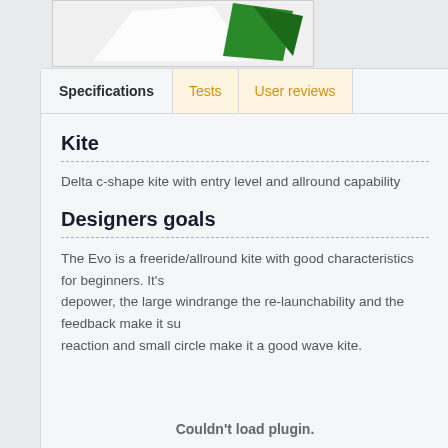[Figure (photo): Partial image of a kite (green and white), cropped at the top of the page]
Specifications
Tests
User reviews
Kite
Delta c-shape kite with entry level and allround capability
Designers goals
The Evo is a freeride/allround kite with good characteristics for beginners. It's depower, the large windrange the re-launchability and the feedback make it su reaction and small circle make it a good wave kite.
Couldn't load plugin.